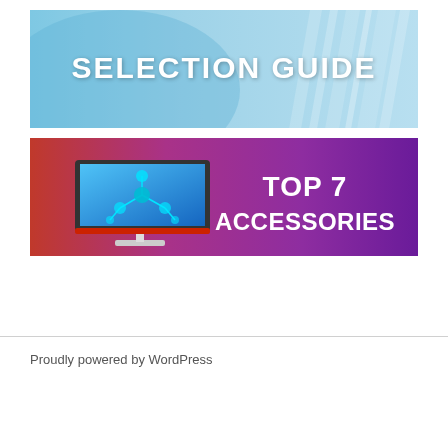[Figure (illustration): Selection Guide banner: blue gradient background with light rays on the right side, text 'SELECTION GUIDE' in large white letters centered-right.]
[Figure (illustration): Top 7 Accessories banner: red-to-purple gradient background, a monitor/computer screen on the left showing a network diagram, text 'TOP 7 ACCESSORIES' in large white bold letters on the right.]
Proudly powered by WordPress